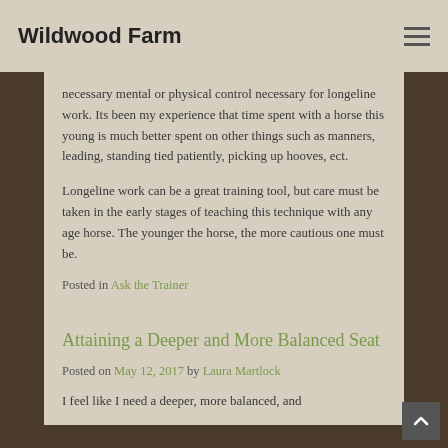Wildwood Farm
necessary mental or physical control necessary for longeline work. Its been my experience that time spent with a horse this young is much better spent on other things such as manners, leading, standing tied patiently, picking up hooves, ect.
Longeline work can be a great training tool, but care must be taken in the early stages of teaching this technique with any age horse. The younger the horse, the more cautious one must be.
Posted in Ask the Trainer
Attaining a Deeper and More Balanced Seat
Posted on May 12, 2017 by Laura Martlock
I feel like I need a deeper, more balanced, and